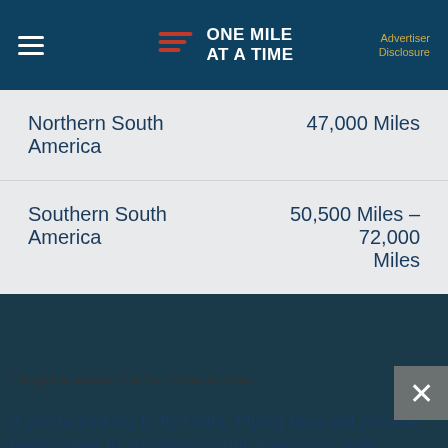ONE MILE AT A TIME | Advertiser Disclosure
| Region | Miles |
| --- | --- |
| Northern South America | 47,000 Miles |
| Southern South America | 50,500 Miles – 72,000 Miles |
FlyingBlue Award Chart for South America
If you're looking to fly Delta, Flying Blue will provide better rates to southern South America in both economy and business class, and sometimes for economy to northern South America (see the Delta section below for more info).